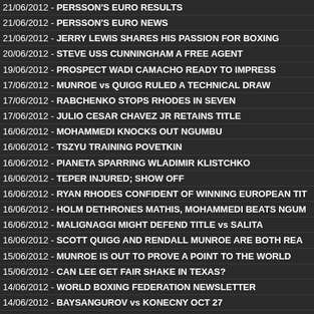21/06/2012 - PERSSON'S EURO RESULTS
21/06/2012 - PERSSON'S EURO NEWS
21/06/2012 - JERRY LEWIS SHARES HIS PASSION FOR BOXING
20/06/2012 - STEVE USS CUNNINGHAM A FREE AGENT
19/06/2012 - PROSPECT WADI CAMACHO READY TO IMPRESS
17/06/2012 - MUNROE vs QUIGG RULED A TECHNICAL DRAW
17/06/2012 - RABCHENKO STOPS RHODES IN SEVEN
17/06/2012 - JULIO CESAR CHAVEZ JR RETAINS TITLE
16/06/2012 - MOHAMMEDI KNOCKS OUT NGUMBU
16/06/2012 - TSZYU TRAINING POVETKIN
16/06/2012 - PIANETA SPARRING WLADIMIR KLISTCHKO
16/06/2012 - TEPER INJURED; SHOW OFF
16/06/2012 - RYAN RHODES CONFIDENT OF WINNING EUROPEAN TIT
16/06/2012 - HOLM DETHRONES MATHIS, MOHAMMEDI BEATS NGUM
16/06/2012 - MALIGNAGGI MIGHT DEFEND TITLE vs SALITA
16/06/2012 - SCOTT QUIGG AND RENDALL MUNROE ARE BOTH REA
15/06/2012 - MUNROE IS OUT TO PROVE A POINT TO THE WORLD
15/06/2012 - CAN LEE GET FAIR SHAKE IN TEXAS?
14/06/2012 - WORLD BOXING FEDERATION NEWSLETTER
14/06/2012 - BAYSANGUROV vs KONECNY OCT 27
14/06/2012 - PERSSON'S EURO RESULTS AND NEWS
14/06/2012 - MILAN KONECNY PASSES
13/06/2012 - CONQUEST vs WILLIAMS ON JULY 7TH
13/06/2012 - JAMOYE OUT; HALL IN
13/06/2012 - WILLIAMS vs PETRANYI
12/06/2012 - MAGEE vs BALZSAY JULY 7 BUT ...